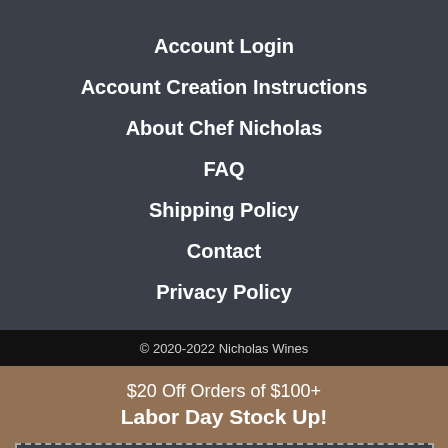Account Login
Account Creation Instructions
About Chef Nicholas
FAQ
Shipping Policy
Contact
Privacy Policy
© 2020-2022 Nicholas Wines
$20 Off Orders of $100+
Labor Day Stock Up!
Click To Copy Code: LDW2022